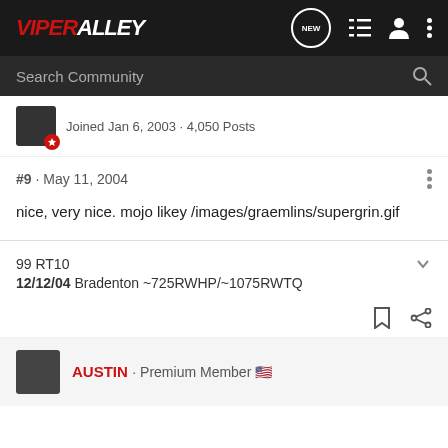ViperAlley
Search Community
Joined Jan 6, 2003 · 4,050 Posts
#9 · May 11, 2004
nice, very nice. mojo likey /images/graemlins/supergrin.gif
99 RT10
12/12/04 Bradenton ~725RWHP/~1075RWTQ
AUSTIN · Premium Member 🇺🇸